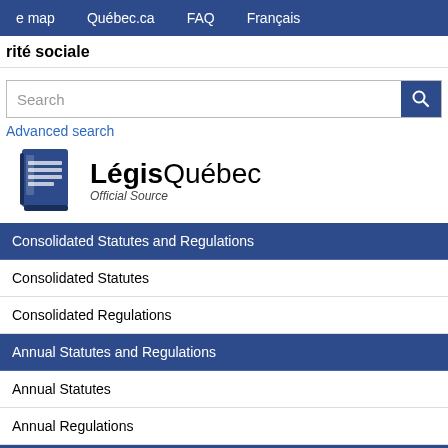e map   Québec.ca   FAQ   Français
rité sociale
Search
Advanced search
[Figure (logo): LégisQuébec Official Source logo with blue book icon]
Consolidated Statutes and Regulations
Consolidated Statutes
Consolidated Regulations
Annual Statutes and Regulations
Annual Statutes
Annual Regulations
Additional information
Québec Official Publisher